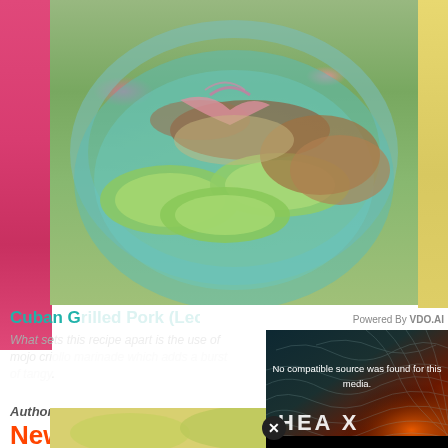[Figure (photo): Food photo showing a plate with avocado slices, grilled pork, and pickled onions on a teal/turquoise plate with pink and yellow napkins in the background]
Cuban Grilled Pork (Lechon Asado)
What sets this recipe apart is the use of mojo criollo marinade which adds a burst of tangy...
Author:
New
[Figure (screenshot): Video player popup showing error message 'No compatible source was found for this media.' with dark teal to orange gradient background with topographic line pattern and 'HEA X' text overlay. Powered by VDO.AI branding shown. Close button (X in circle) visible.]
[Figure (photo): Bottom strip showing another food photo partially visible at the bottom of the page]